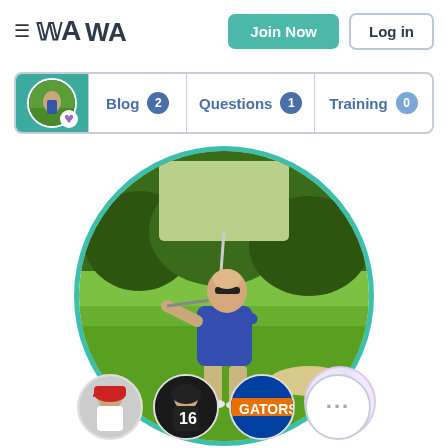≡ WA | Join Now | Log in
[Figure (screenshot): Profile tab bar with avatar, Blog (2), Questions (1), Training (0) tabs]
[Figure (photo): Circular profile photo of a man playing golf on a green course, with a teal border and a purple diamond badge]
[Figure (photo): Row of four small circular follower avatars: baseball player, football player, Florida Gators logo, and more (...) button]